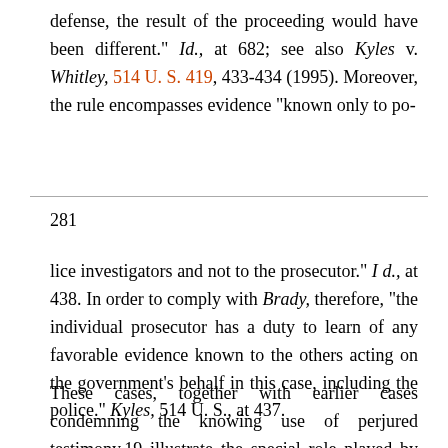defense, the result of the proceeding would have been different." Id., at 682; see also Kyles v. Whitley, 514 U. S. 419, 433-434 (1995). Moreover, the rule encompasses evidence "known only to po-
281
lice investigators and not to the prosecutor." I d., at 438. In order to comply with Brady, therefore, "the individual prosecutor has a duty to learn of any favorable evidence known to the others acting on the government's behalf in this case, including the police." Kyles, 514 U. S., at 437.
These cases, together with earlier cases condemning the knowing use of perjured testimony,19 illustrate the special role played by the American prosecutor in the search for truth in criminal trials. Within the federal system, for example, we have said that the United States Attorney is "the representative not of an ordinary